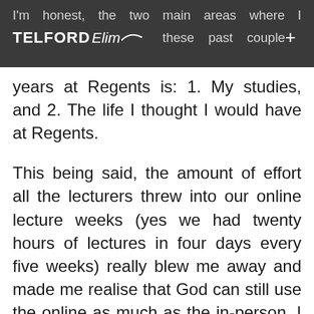I'm honest, the two main areas where I felt let for these past couple of years at Regents is: 1. My studies, and 2. The life I thought I would have at Regents.
This being said, the amount of effort all the lecturers threw into our online lecture weeks (yes we had twenty hours of lectures in four days every five weeks) really blew me away and made me realise that God can still use the online as much as the in-person. I realised that just because I felt limited with how much I could do, that doesn't limit what God can do, and how He could use the online